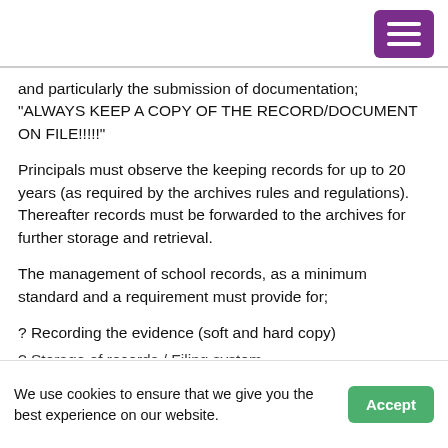[Hamburger menu button]
and particularly the submission of documentation; "ALWAYS KEEP A COPY OF THE RECORD/DOCUMENT ON FILE!!!!!"
Principals must observe the keeping records for up to 20 years (as required by the archives rules and regulations). Thereafter records must be forwarded to the archives for further storage and retrieval.
The management of school records, as a minimum standard and a requirement must provide for;
? Recording the evidence (soft and hard copy)
? Storage of records / Filing system
We use cookies to ensure that we give you the best experience on our website.